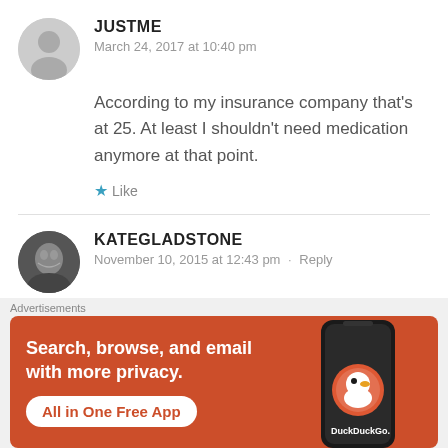JUSTME
March 24, 2017 at 10:40 pm
According to my insurance company that’s at 25. At least I shouldn’t need medication anymore at that point.
★ Like
KATEGLADSTONE
November 10, 2015 at 12:43 pm · Reply
[Figure (infographic): DuckDuckGo advertisement banner with orange background. Text reads: Search, browse, and email with more privacy. All in One Free App. Shows phone mockup with DuckDuckGo logo.]